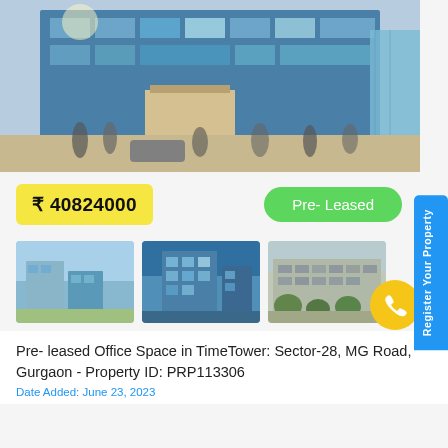[Figure (photo): Exterior photo of TimeTower office building, a multi-story glass and concrete commercial building with people and vehicles in the foreground]
₹ 40824000
Pre- Leased
[Figure (photo): Thumbnail photo of glass office buildings against blue sky]
[Figure (photo): Thumbnail photo of modern blue glass commercial building]
[Figure (photo): Thumbnail photo of multi-story office building with trees]
Pre- leased Office Space in TimeTower: Sector-28, MG Road, Gurgaon - Property ID: PRP113306
Date Added: June 23, 2023